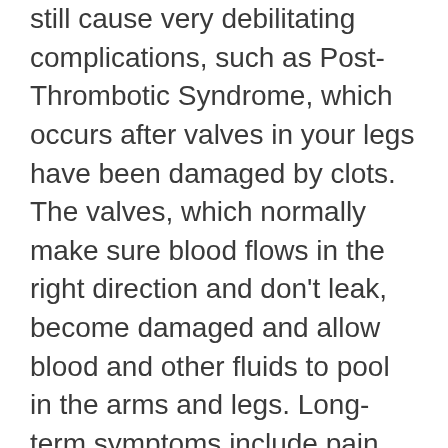still cause very debilitating complications, such as Post-Thrombotic Syndrome, which occurs after valves in your legs have been damaged by clots. The valves, which normally make sure blood flows in the right direction and don't leak, become damaged and allow blood and other fluids to pool in the arms and legs. Long-term symptoms include pain, swelling, heaviness, and cramping, making it hard to walk or stand for long periods of time, as well as discomfort while sitting. Recurrent clotting that requires too much time off work due to hospitalizations can also be a problem.
Though the SSA has grid rules for determining RFCs for applicants 45 and older, if you can show the SSA that you can't